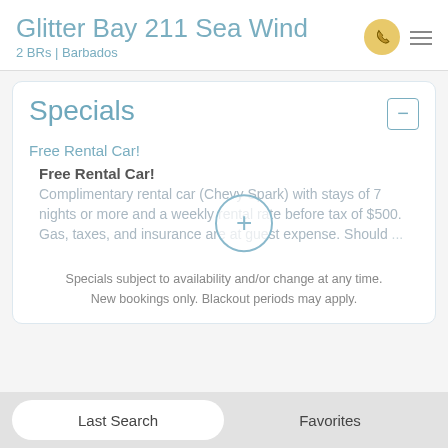Glitter Bay 211 Sea Wind
2 BRs | Barbados
Specials
Free Rental Car!
Free Rental Car!
Complimentary rental car (Chevy Spark) with stays of 7 nights or more and a weekly rental rate before tax of $500. Gas, taxes, and insurance are at guest expense. Should ...
Specials subject to availability and/or change at any time. New bookings only. Blackout periods may apply.
Last Search   Favorites